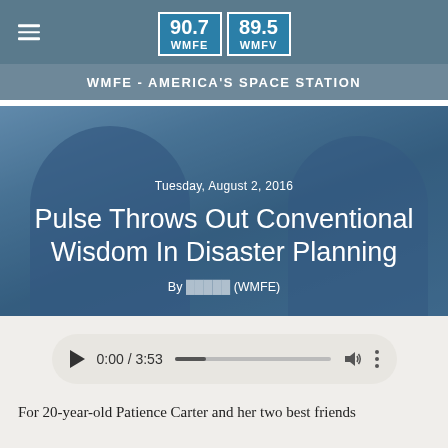[Figure (logo): WMFE 90.7 and WMFV 89.5 radio station logo boxes in teal/blue with white text]
WMFE - AMERICA'S SPACE STATION
[Figure (photo): Two police/fire officers in blue uniforms standing in front of a building, overlaid with blue tint. Shows hero image for article with date, title, and byline.]
Pulse Throws Out Conventional Wisdom In Disaster Planning
Tuesday, August 2, 2016
By [author] (WMFE)
0:00 / 3:53
For 20-year-old Patience Carter and her two best friends